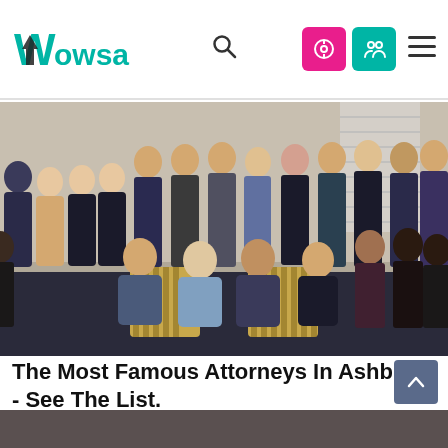Wowsa
[Figure (photo): Group photo of approximately 25-30 attorneys in professional business attire (suits, blazers) posed together in a formal setting with striped chairs visible. Four people are seated in front, others standing in rows behind.]
The Most Famous Attorneys In Ashburn - See The List.
Attorneys | Search Ads | Sponsored
[Figure (photo): Partial image at bottom of page, cropped]